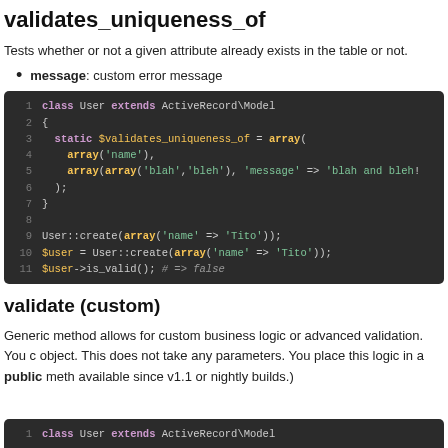validates_uniqueness_of
Tests whether or not a given attribute already exists in the table or not.
message: custom error message
[Figure (screenshot): Code block showing PHP class User extending ActiveRecord\Model with static $validates_uniqueness_of = array(...) using name and blah/bleh with message, followed by User::create and $user->is_valid() calls]
validate (custom)
Generic method allows for custom business logic or advanced validation. You c... object. This does not take any parameters. You place this logic in a public meth... available since v1.1 or nightly builds.)
[Figure (screenshot): Bottom of page code block showing class User extends ActiveRecord\Model]